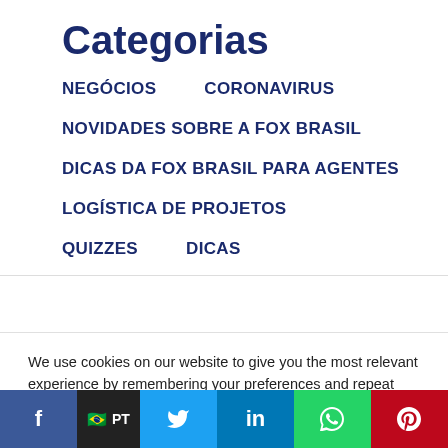Categorias
NEGÓCIOS
CORONAVIRUS
NOVIDADES SOBRE A FOX BRASIL
DICAS DA FOX BRASIL PARA AGENTES
LOGÍSTICA DE PROJETOS
QUIZZES
DICAS
We use cookies on our website to give you the most relevant experience by remembering your preferences and repeat visits. By clicking ?Accept All?, you consent to the use of ALL the cookies. However, you may visit "Cookie Settings" to provide a controlled consent.